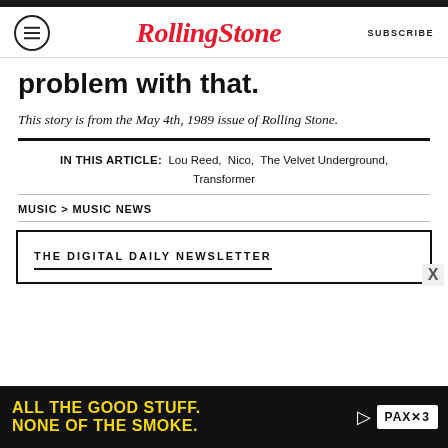Rolling Stone | SUBSCRIBE
problem with that.
This story is from the May 4th, 1989 issue of Rolling Stone.
IN THIS ARTICLE: Lou Reed, Nico, The Velvet Underground, Transformer
MUSIC > MUSIC NEWS
THE DIGITAL DAILY NEWSLETTER
[Figure (infographic): Advertisement banner: 'ALL THE GOOD STUFF. NONE OF THE SMOKE.' with PAX 3 logo on dark background with yellow text]